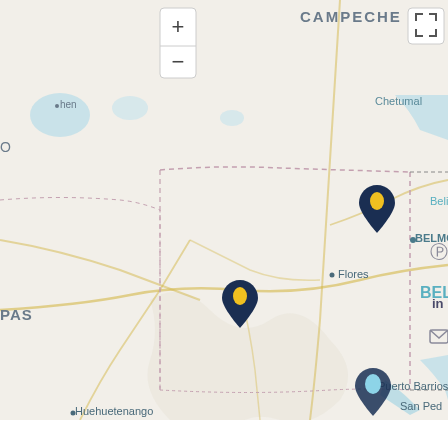[Figure (map): Interactive map showing Guatemala, Belize, and parts of Mexico (Campeche, Chiapas). Three location pins are visible: two dark navy pins with yellow dots (one in northern Guatemala/Petén region, one in central Petén), and one light blue/teal pin in southern Guatemala. Map labels include CAMPECHE, Chetumal, BELMOPAN, Flores, BELIZE, Puerto Barrios, San Pedro, Huehuetenango, GUATEMALA, PAS (Chiapas). UI controls include zoom +/- buttons and a fullscreen button. Social media icons (Pinterest, LinkedIn, email) visible on right edge.]